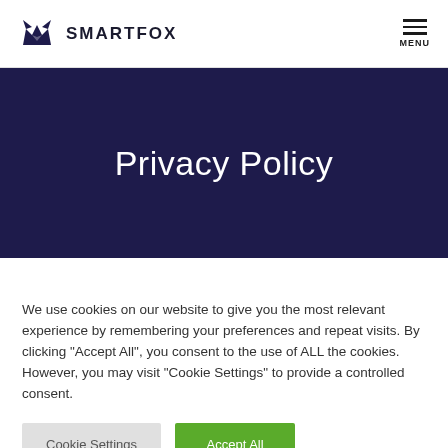SMARTFOX
Privacy Policy
We use cookies on our website to give you the most relevant experience by remembering your preferences and repeat visits. By clicking “Accept All”, you consent to the use of ALL the cookies. However, you may visit "Cookie Settings" to provide a controlled consent.
Cookie Settings
Accept All